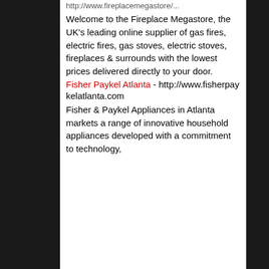http://www.fireplacemegastore/...
Welcome to the Fireplace Megastore, the UK's leading online supplier of gas fires, electric fires, gas stoves, electric stoves, fireplaces & surrounds with the lowest prices delivered directly to your door.
Fisher Paykel Atlanta - http://www.fisherpaykelatlanta.com
Fisher & Paykel Appliances in Atlanta markets a range of innovative household appliances developed with a commitment to technology,